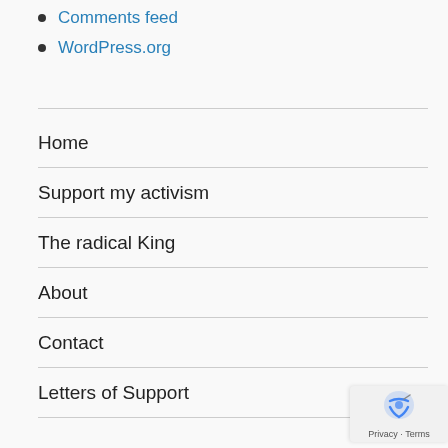Comments feed
WordPress.org
Home
Support my activism
The radical King
About
Contact
Letters of Support